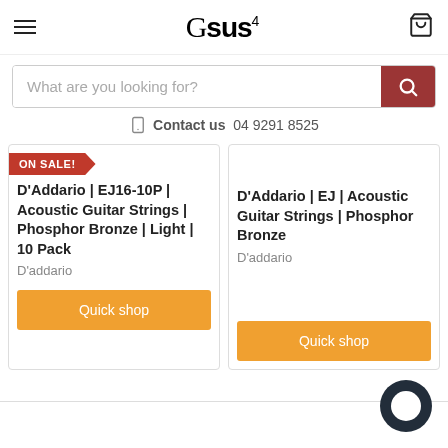Gsus4
What are you looking for?
Contact us  04 9291 8525
ON SALE!
D'Addario | EJ16-10P | Acoustic Guitar Strings | Phosphor Bronze | Light | 10 Pack
D'addario
Quick shop
D'Addario | EJ | Acoustic Guitar Strings | Phosphor Bronze
D'addario
Quick shop